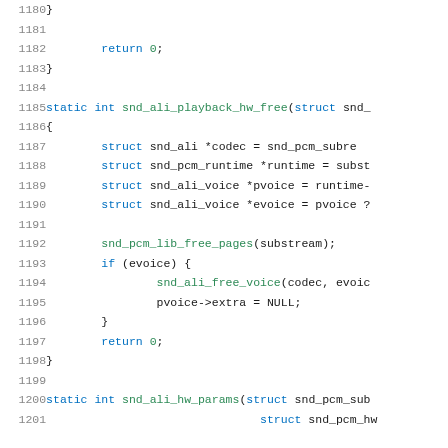[Figure (screenshot): Source code listing in C, showing lines 1180-1201. Code includes functions snd_ali_playback_hw_free and snd_ali_hw_params with struct declarations, conditional logic, and return statements.]